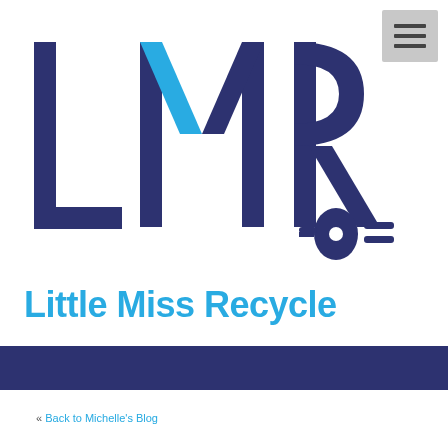[Figure (logo): LMR logo with large dark navy letters L, M, R and a blue electric plug icon, for Little Miss Recycle]
Little Miss Recycle
« Back to Michelle's Blog